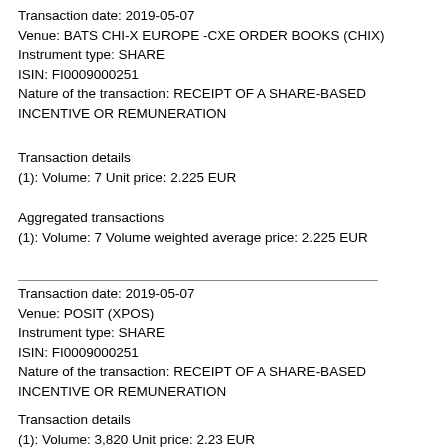Transaction date: 2019-05-07
Venue: BATS CHI-X EUROPE -CXE ORDER BOOKS (CHIX)
Instrument type: SHARE
ISIN: FI0009000251
Nature of the transaction: RECEIPT OF A SHARE-BASED INCENTIVE OR REMUNERATION
Transaction details
(1): Volume: 7 Unit price: 2.225 EUR
Aggregated transactions
(1): Volume: 7 Volume weighted average price: 2.225 EUR
Transaction date: 2019-05-07
Venue: POSIT (XPOS)
Instrument type: SHARE
ISIN: FI0009000251
Nature of the transaction: RECEIPT OF A SHARE-BASED INCENTIVE OR REMUNERATION
Transaction details
(1): Volume: 3,820 Unit price: 2.23 EUR